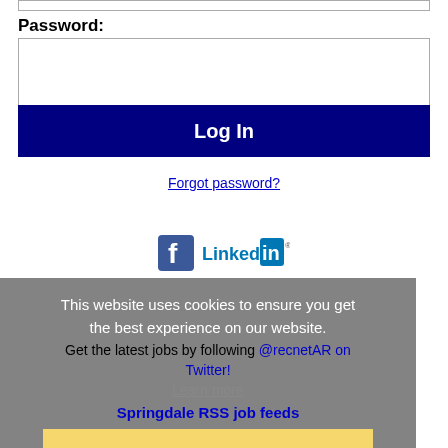Password:
Log In
Forgot password?
[Figure (logo): Facebook and LinkedIn social media icons]
This website uses cookies to ensure you get the best experience on our website.
Get the latest jobs by following @recnetAR on Twitter!
Learn more
Springdale RSS job feeds
Got it!